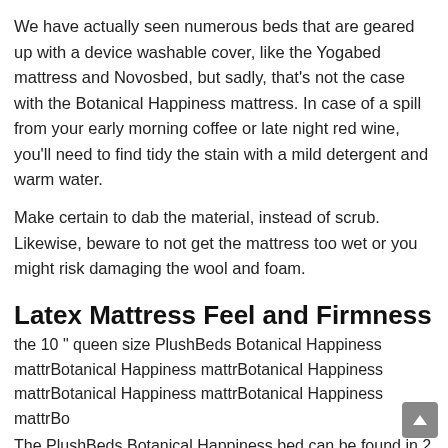We have actually seen numerous beds that are geared up with a device washable cover, like the Yogabed mattress and Novosbed, but sadly, that's not the case with the Botanical Happiness mattress. In case of a spill from your early morning coffee or late night red wine, you'll need to find tidy the stain with a mild detergent and warm water.
Make certain to dab the material, instead of scrub. Likewise, beware to not get the mattress too wet or you might risk damaging the wool and foam.
Latex Mattress Feel and Firmness
the 10 " queen size PlushBeds Botanical Happiness mattr
The PlushBeds Botanical Happiness bed can be found in 2